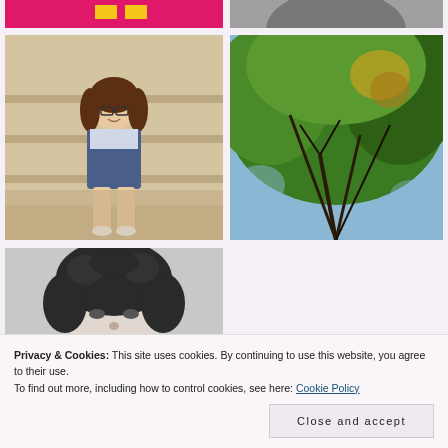[Figure (photo): Partial top-left photo with pink/magenta background and yellow graphic elements, cropped at top]
[Figure (photo): Partial top-right photo in grayscale, cropped at top]
[Figure (photo): Young woman with glasses sitting on stone steps outdoors in sunlight]
[Figure (photo): Looking up through tree canopy with green leaves against sky]
[Figure (photo): Black and white portrait photo of a person with curly hair, partially obscured by cookie banner]
Privacy & Cookies: This site uses cookies. By continuing to use this website, you agree to their use.
To find out more, including how to control cookies, see here: Cookie Policy
Close and accept